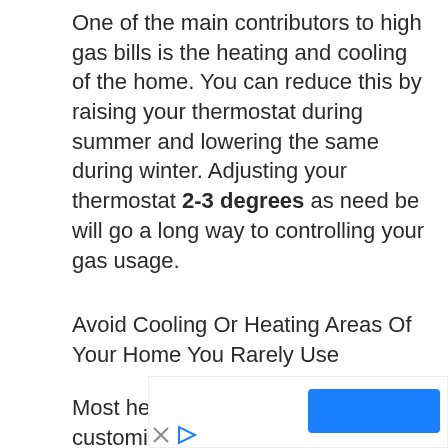One of the main contributors to high gas bills is the heating and cooling of the home. You can reduce this by raising your thermostat during summer and lowering the same during winter. Adjusting your thermostat 2-3 degrees as need be will go a long way to controlling your gas usage.
Avoid Cooling Or Heating Areas Of Your Home You Rarely Use
Most heating systems have settings customized for different regions of the house, which can help avoid heating
[Figure (other): Advertisement banner with a blue button and ad icons (X and play button)]